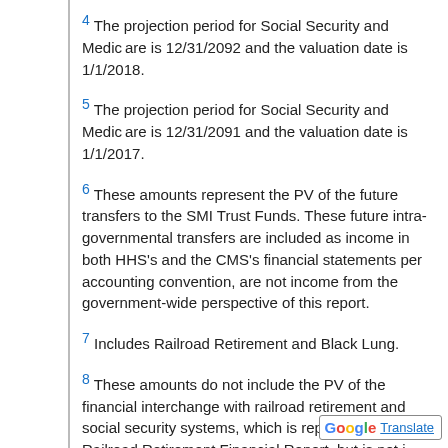4 The projection period for Social Security and Medicare is 12/31/2092 and the valuation date is 1/1/2018.
5 The projection period for Social Security and Medicare is 12/31/2091 and the valuation date is 1/1/2017.
6 These amounts represent the PV of the future transfers to the SMI Trust Funds. These future intra-governmental transfers are included as income in both HHS's and the CMS's financial statements per accounting convention, are not income from the government-wide perspective of this report.
7 Includes Railroad Retirement and Black Lung.
8 These amounts do not include the PV of the financial interchange with railroad retirement and social security systems, which is reported in the Railroad Retirement Financial Report, but is not included in the government-wide perspective of this report (See discussion in the unaudited RSI section of this report).